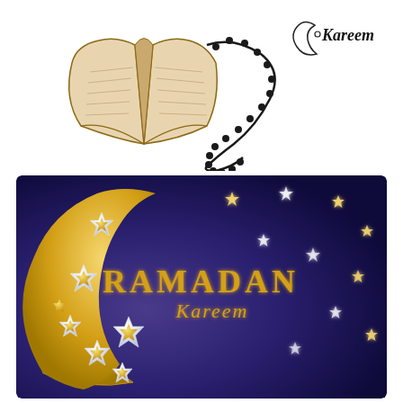[Figure (illustration): Sketch illustration of an open Quran book with prayer beads (tasbih/misbaha) draped over it, drawn in brown/sepia tones. To the upper right is a crescent moon and star icon with the cursive text 'Kareem' beside it in black.]
[Figure (illustration): Ramadan Kareem greeting card with a dark navy/purple gradient background. Features a large golden crescent moon filled with 3D paper-cut style white and gold stars. Text reads 'RAMADAN' in large gold uppercase letters and 'Kareem' in gold cursive script below. Additional small gold and silver stars are scattered across the background.]